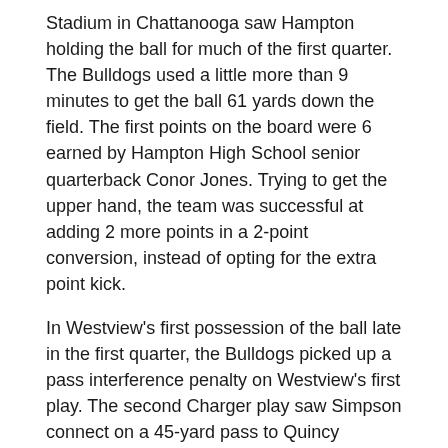Stadium in Chattanooga saw Hampton holding the ball for much of the first quarter. The Bulldogs used a little more than 9 minutes to get the ball 61 yards down the field. The first points on the board were 6 earned by Hampton High School senior quarterback Conor Jones. Trying to get the upper hand, the team was successful at adding 2 more points in a 2-point conversion, instead of opting for the extra point kick.
In Westview's first possession of the ball late in the first quarter, the Bulldogs picked up a pass interference penalty on Westview's first play. The second Charger play saw Simpson connect on a 45-yard pass to Quincy Hamilton for the team's first 6 points. The team was unsuccessful at getting a 2-point conversion, but that would be the only time Westview didn't earn the extra points after a touchdown. Within 18 seconds of possession, the Chargers managed to put points on the board.
With 2:10 remaining in the first quarter, an onside kick by senior kicker Jackson Abel resulted in a fumble by Hampton with Charger tackle Quindarian Johnson recovering, giving Westview the ball for a second time in the first quarter. This was the 40th forced turnover of the season by the Westview Chargers. Once gaining the Westview possession resulted in on the grid...